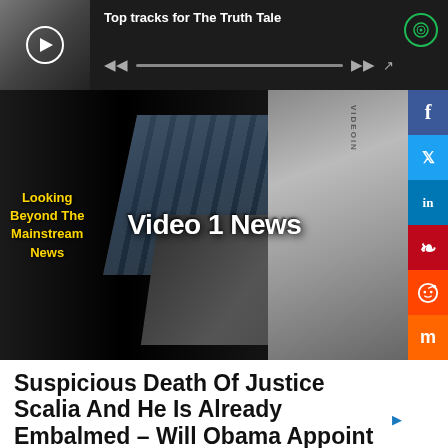[Figure (screenshot): Spotify player bar showing 'Top tracks for The Truth Tale' with play controls and progress bar]
[Figure (screenshot): Video 1 News banner with text 'Looking Beyond The Mainstream News' and 'Video 1 News' logo overlay on dark background with film strip, camera, and microphone visuals]
[Figure (screenshot): Social media sidebar with Facebook, Twitter, LinkedIn, Pinterest, Reddit, and Mix buttons]
Suspicious Death Of Justice Scalia And He Is Already Embalmed – Will Obama Appoint Another Election?